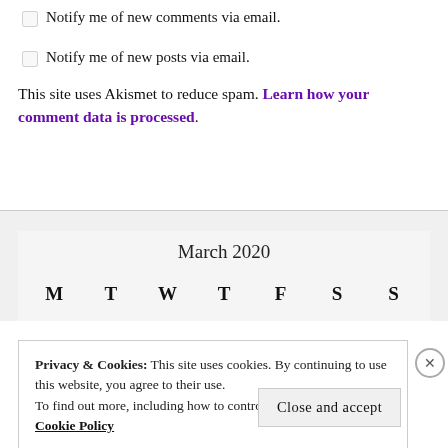Notify me of new comments via email.
Notify me of new posts via email.
This site uses Akismet to reduce spam. Learn how your comment data is processed.
| M | T | W | T | F | S | S |
| --- | --- | --- | --- | --- | --- | --- |
Privacy & Cookies: This site uses cookies. By continuing to use this website, you agree to their use. To find out more, including how to control cookies, see here: Cookie Policy
Close and accept